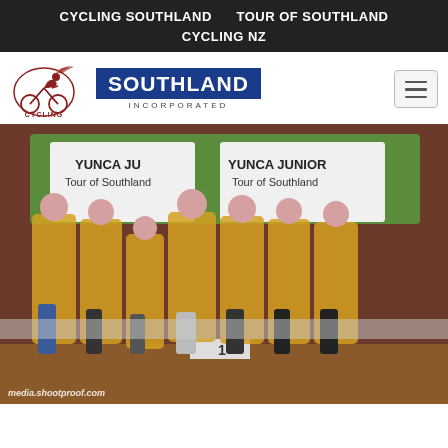CYCLING SOUTHLAND     TOUR OF SOUTHLAND     CYCLING NZ
[Figure (logo): Cycling Southland Incorporated logo with cyclist graphic and blue banner reading SOUTHLAND INCORPORATED]
[Figure (photo): Group photo of seven young cyclists wearing yellow Tour of Southland jerseys standing on a podium stage in front of YUNCA Junior banners. Watermark: media.shootproof.com]